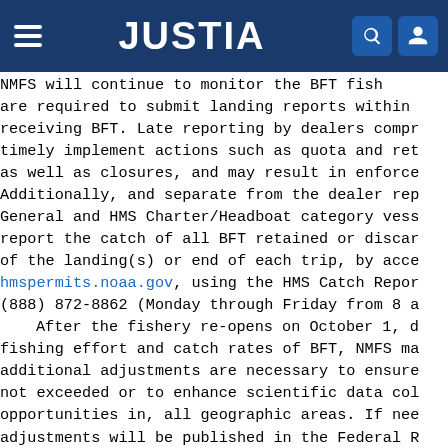JUSTIA
NMFS will continue to monitor the BFT fishery. Dealers are required to submit landing reports within 24 hours of receiving BFT. Late reporting by dealers compromises NMFS ability to timely implement actions such as quota and retention limit adjustments, as well as closures, and may result in enforcement actions. Additionally, and separate from the dealer reporting requirements, General and HMS Charter/Headboat category vessel owners/operators must report the catch of all BFT retained or discarded within 24 hours of the landing(s) or end of each trip, by accessing hmspermits.noaa.gov, using the HMS Catch Reporting System, or calling (888) 872-8862 (Monday through Friday from 8 a.m. to 4:30 p.m.).

After the fishery re-opens on October 1, depending on the fishing effort and catch rates of BFT, NMFS may determine that additional adjustments are necessary to ensure that quotas are not exceeded or to enhance scientific data collection and fishing opportunities in, all geographic areas. If needed, any such adjustments will be published in the Federal Register.